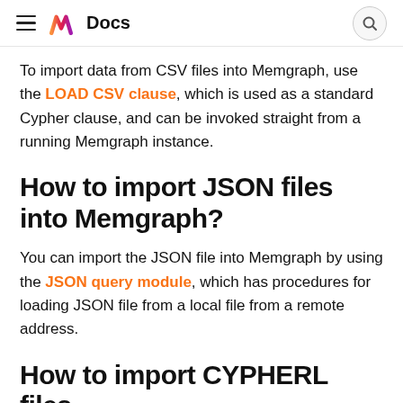Docs
To import data from CSV files into Memgraph, use the LOAD CSV clause, which is used as a standard Cypher clause, and can be invoked straight from a running Memgraph instance.
How to import JSON files into Memgraph?
You can import the JSON file into Memgraph by using the JSON query module, which has procedures for loading JSON file from a local file from a remote address.
How to import CYPHERL files